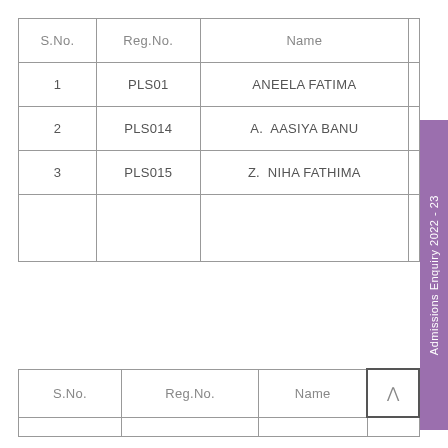| S.No. | Reg.No. | Name |  |
| --- | --- | --- | --- |
| 1 | PLS01 | ANEELA FATIMA |  |
| 2 | PLS014 | A.  AASIYA BANU |  |
| 3 | PLS015 | Z.  NIHA FATHIMA |  |
|  |  |  |  |
| S.No. | Reg.No. | Name | ^ |
| --- | --- | --- | --- |
|  |  |  |  |